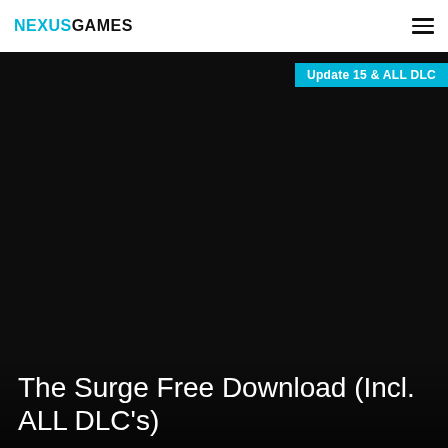NEXUSGAMES
Update 15 & ALL DLC
[Figure (screenshot): Dark hero background image for The Surge game page]
The Surge Free Download (Incl. ALL DLC's)